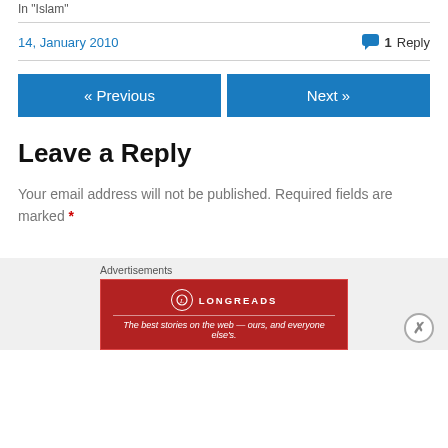In "Islam"
14, January 2010   1 Reply
« Previous
Next »
Leave a Reply
Your email address will not be published. Required fields are marked *
Comment *
Advertisements
[Figure (other): Longreads advertisement banner: The best stories on the web — ours, and everyone else's.]